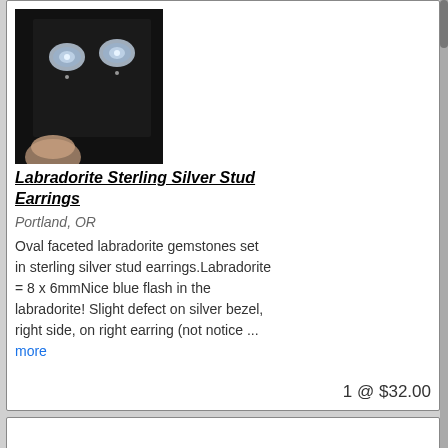[Figure (photo): Product photo of labradorite sterling silver stud earrings on a black display card, with a hand holding it]
Labradorite Sterling Silver Stud Earrings
Portland, OR
Oval faceted labradorite gemstones set in sterling silver stud earrings.Labradorite = 8 x 6mmNice blue flash in the labradorite! Slight defect on silver bezel, right side, on right earring (not notice ... more
1 @ $32.00
[Figure (photo): Product photo of black metal jump rings/chain maille rings, showing a pile of circular rings]